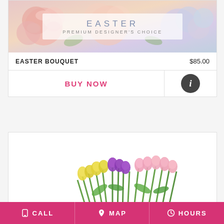[Figure (photo): Easter flower bouquet with pink roses and pastel flowers, overlaid with semi-transparent banner reading EASTER PREMIUM DESIGNER'S CHOICE]
EASTER
PREMIUM DESIGNER'S CHOICE
| EASTER BOUQUET | $85.00 |
| --- | --- |
BUY NOW
[Figure (photo): Colorful tulip bouquet with yellow, purple, and pink tulips with green stems in a vase]
CALL   MAP   HOURS